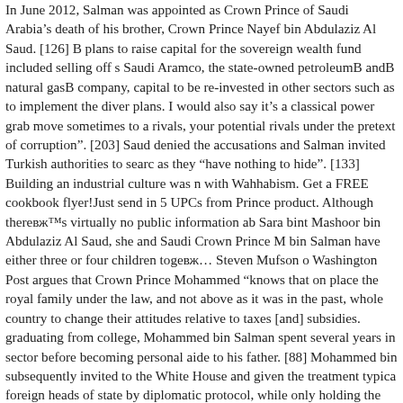In June 2012, Salman was appointed as Crown Prince of Saudi Arabia following the death of his brother, Crown Prince Nayef bin Abdulaziz Al Saud. [126] B plans to raise capital for the sovereign wealth fund included selling off shares of Saudi Aramco, the state-owned petroleumВ andВ natural gasВ company, and for that capital to be re-invested in other sectors such as to implement the diversification plans. I would also say it's a classical power grab move sometimes to arrest your rivals, your potential rivals under the pretext of corruption". [203] Saudi Arabia denied the accusations and Salman invited Turkish authorities to search the consulate as they "have nothing to hide". [133] Building an industrial culture was not compatible with Wahhabism. Get a FREE cookbook flyer!Just send in 5 UPCs from any Little Prince product. Although thereвЂ™s virtually no public information about Salman's wife Sara bint Mashoor bin Abdulaziz Al Saud, she and Saudi Crown Prince Mohammed bin Salman have either three or four children togeвЂ¦ Steven Mufson of The Washington Post argues that Crown Prince Mohammed "knows that one has to place the royal family under the law, and not above as it was in the past, and get the whole country to change their attitudes relative to taxes [and] subsidies. After graduating from college, Mohammed bin Salman spent several years in the private sector before becoming personal aide to his father. [88] Mohammed bin Salman was subsequently invited to the White House and given the treatment typically afforded to foreign heads of state by diplomatic protocol, while only holding the position of Deputy Crown Prince at the time. I mean, if you think, the Queen Mother, Prince Charles would be out fly fishing in вЂ¦ [55] The change of succession ha